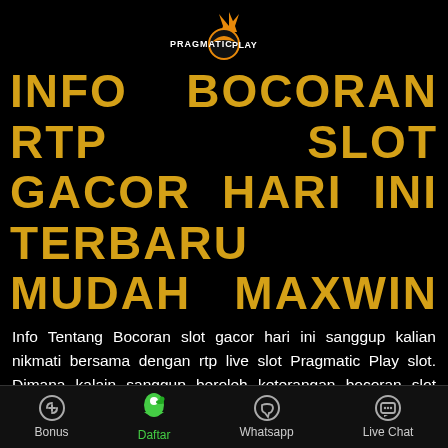[Figure (logo): Pragmatic Play logo — orange crown above a black circle with orange crescent and 'PRAGMATIC PLAY' text in white/gold]
INFO BOCORAN RTP SLOT GACOR HARI INI TERBARU MUDAH MAXWIN
Info Tentang Bocoran slot gacor hari ini sanggup kalian nikmati bersama dengan rtp live slot Pragmatic Play slot. Dimana kalain sanggup beroleh keterangan bocoran slot gacor hari ini slot Pragmatic Play Habanero dan PG Soft di tahun 2022. Di sini kami menganjurkan situs slot gacor bersama dengan rtp slot pragmatic tertinggi gampang jackpot. Kalian sebagai member baru termasuk sanggup nikmati bermacam promo bonus slot bersama dengan mudah di rtp tertinggi slot kali ini. Langsung saja daftarkan diri anda pada situs slot RTP tertinggi gampang menang di jamin
Bonus  Daftar  Whatsapp  Live Chat